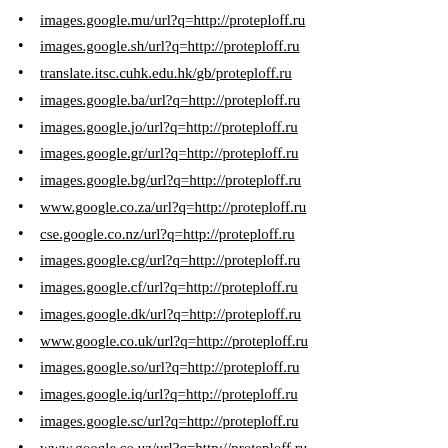images.google.mu/url?q=http://proteploff.ru
images.google.sh/url?q=http://proteploff.ru
translate.itsc.cuhk.edu.hk/gb/proteploff.ru
images.google.ba/url?q=http://proteploff.ru
images.google.jo/url?q=http://proteploff.ru
images.google.gr/url?q=http://proteploff.ru
images.google.bg/url?q=http://proteploff.ru
www.google.co.za/url?q=http://proteploff.ru
cse.google.co.nz/url?q=http://proteploff.ru
images.google.cg/url?q=http://proteploff.ru
images.google.cf/url?q=http://proteploff.ru
images.google.dk/url?q=http://proteploff.ru
www.google.co.uk/url?q=http://proteploff.ru
images.google.so/url?q=http://proteploff.ru
images.google.iq/url?q=http://proteploff.ru
images.google.sc/url?q=http://proteploff.ru
www.google.co.uz/url?q=http://proteploff.ru
cse.google.co.ke/url?q=http://proteploff.ru
images.google.rs/url?q=http://proteploff.ru